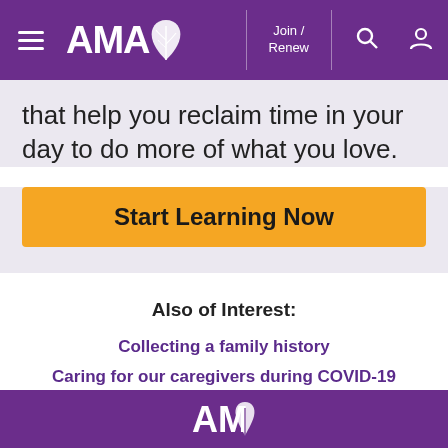AMA — Join / Renew
that help you reclaim time in your day to do more of what you love.
Start Learning Now
Also of Interest:
Collecting a family history
Caring for our caregivers during COVID-19
Asking children to donate bone marrow: 5...
AMA logo